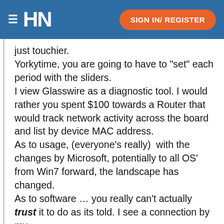HN  SIGN IN/ REGISTER
just touchier.
Yorkytime, you are going to have to "set" each period with the sliders.
I view Glasswire as a diagnostic tool. I would rather you spent $100 towards a Router that would track network activity across the board and list by device MAC address.
As to usage, (everyone's really)  with the changes by Microsoft, potentially to all OS' from Win7 forward, the landscape has changed.
As to software … you really can't actually trust it to do as its told. I see a connection by my